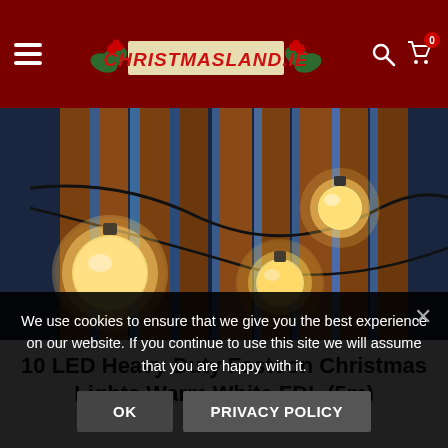Christmasland.ie — site header navigation
[Figure (photo): Close-up photo of warm white LED festoon/globe string lights hanging outdoors against wooden fence panels and blue sky. The large globe bulbs glow with warm yellow-orange light.]
10 LED Heavy Duty Festoon Christmas Lights Warm White FDL (5m)
We use cookies to ensure that we give you the best experience on our website. If you continue to use this site we will assume that you are happy with it.